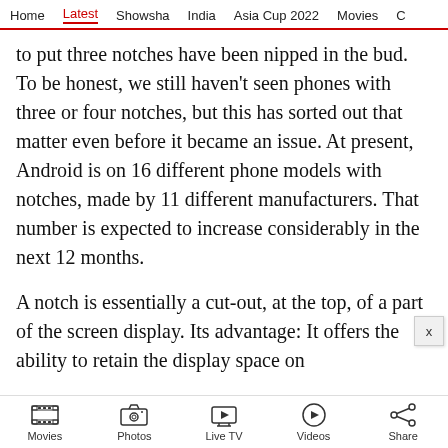Home  Latest  Showsha  India  Asia Cup 2022  Movies  C
to put three notches have been nipped in the bud. To be honest, we still haven't seen phones with three or four notches, but this has sorted out that matter even before it became an issue. At present, Android is on 16 different phone models with notches, made by 11 different manufacturers. That number is expected to increase considerably in the next 12 months.
A notch is essentially a cut-out, at the top, of a part of the screen display. Its advantage: It offers the ability to retain the display space on
Movies  Photos  Live TV  Videos  Share